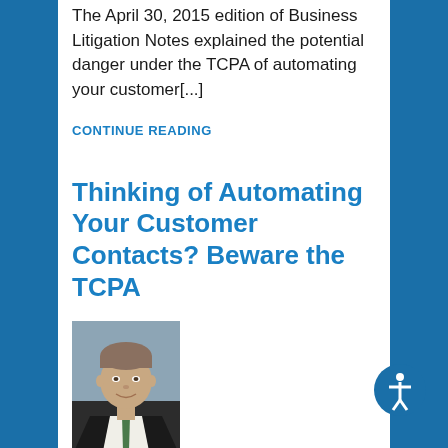The April 30, 2015 edition of Business Litigation Notes explained the potential danger under the TCPA of automating your customer[...]
CONTINUE READING
Thinking of Automating Your Customer Contacts? Beware the TCPA
[Figure (photo): Professional headshot of Donald E Bradley, a man in a suit with a light-colored shirt and tie, photographed against a building background.]
BY DONALD E BRADLEY ON APRIL 30, 2015 Posted in TCPA